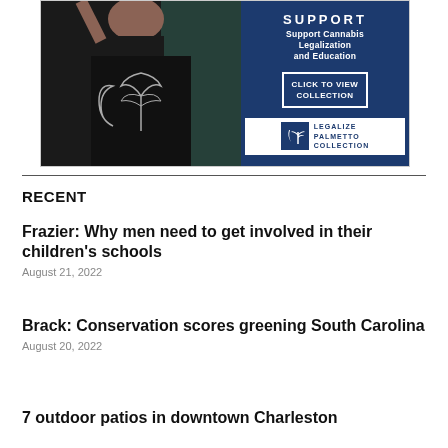[Figure (photo): Advertisement banner for Legalize Palmetto Collection showing a person wearing a black t-shirt with cannabis leaf design. Right side has dark blue background with text 'SUPPORT Support Cannabis Legalization and Education' and a 'CLICK TO VIEW COLLECTION' button. Bottom right shows the 'LEGALIZE PALMETTO COLLECTION' logo with South Carolina state symbol.]
RECENT
Frazier: Why men need to get involved in their children's schools
August 21, 2022
Brack: Conservation scores greening South Carolina
August 20, 2022
7 outdoor patios in downtown Charleston